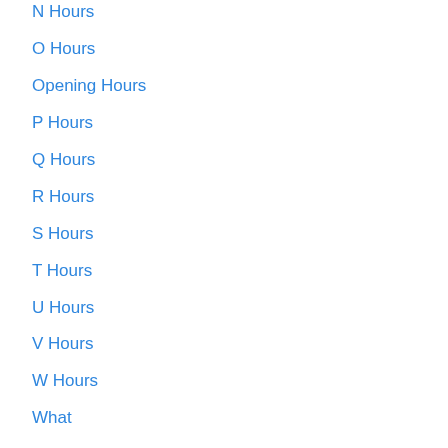N Hours
O Hours
Opening Hours
P Hours
Q Hours
R Hours
S Hours
T Hours
U Hours
V Hours
W Hours
What
X Hours
Y Hours